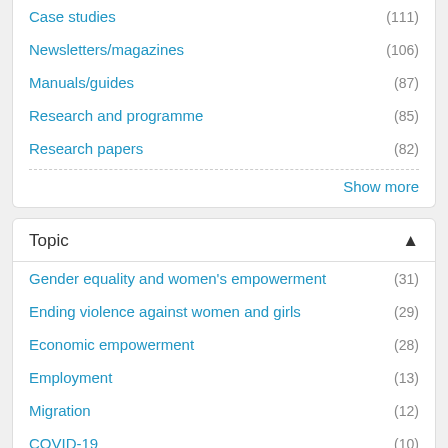Case studies (111)
Newsletters/magazines (106)
Manuals/guides (87)
Research and programme (85)
Research papers (82)
Show more
Topic
Gender equality and women's empowerment (31)
Ending violence against women and girls (29)
Economic empowerment (28)
Employment (13)
Migration (12)
COVID-19 (10)
Crisis response and recovery (8)
Gender-responsive budgeting (6)
Governance and national planning (6)